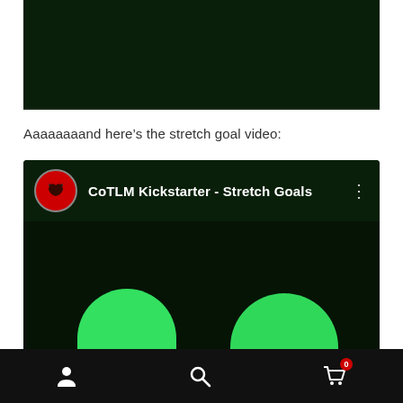[Figure (screenshot): Dark green video thumbnail area at top of page]
Aaaaaaaand here’s the stretch goal video:
[Figure (screenshot): YouTube video embed showing 'CoTLM Kickstarter - Stretch Goals' with red bull channel icon, dark green background, and two green blob shapes at the bottom]
[Figure (screenshot): Mobile app bottom navigation bar with person icon, search/magnifier icon, and shopping cart icon with badge showing 0]